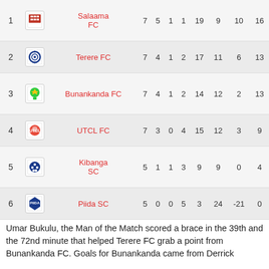| # | Team | P | W | D | L | GF | GA | GD | Pts |
| --- | --- | --- | --- | --- | --- | --- | --- | --- | --- |
| 1 | Salaama FC | 7 | 5 | 1 | 1 | 19 | 9 | 10 | 16 |
| 2 | Terere FC | 7 | 4 | 1 | 2 | 17 | 11 | 6 | 13 |
| 3 | Bunankanda FC | 7 | 4 | 1 | 2 | 14 | 12 | 2 | 13 |
| 4 | UTCL FC | 7 | 3 | 0 | 4 | 15 | 12 | 3 | 9 |
| 5 | Kibanga SC | 5 | 1 | 1 | 3 | 9 | 9 | 0 | 4 |
| 6 | Piida SC | 5 | 0 | 0 | 5 | 3 | 24 | -21 | 0 |
Umar Bukulu, the Man of the Match scored a brace in the 39th and the 72nd minute that helped Terere FC grab a point from Bunankanda FC. Goals for Bunankanda came from Derrick